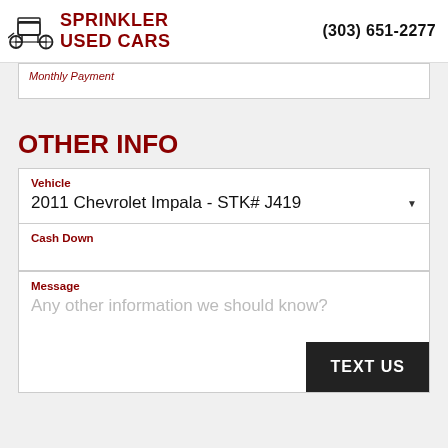SPRINKLER USED CARS  (303) 651-2277
Monthly Payment
OTHER INFO
Vehicle: 2011 Chevrolet Impala - STK# J419
Cash Down
Message: Any other information we should know?
TEXT US